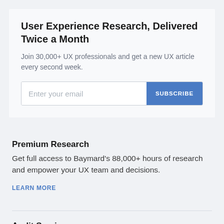User Experience Research, Delivered Twice a Month
Join 30,000+ UX professionals and get a new UX article every second week.
[Figure (other): Email subscription form with placeholder text 'Enter your email' and a blue SUBSCRIBE button]
Premium Research
Get full access to Baymard's 88,000+ hours of research and empower your UX team and decisions.
LEARN MORE
Audit Service
Get Baymard to audit your site's UX performance,